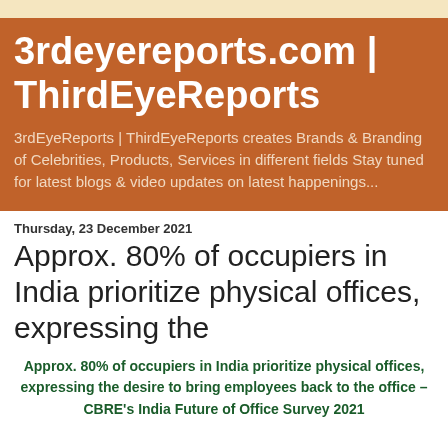3rdeyereports.com | ThirdEyeReports
3rdEyeReports | ThirdEyeReports creates Brands & Branding of Celebrities, Products, Services in different fields Stay tuned for latest blogs & video updates on latest happenings...
Thursday, 23 December 2021
Approx. 80% of occupiers in India prioritize physical offices, expressing the
Approx. 80% of occupiers in India prioritize physical offices, expressing the desire to bring employees back to the office – CBRE's India Future of Office Survey 2021